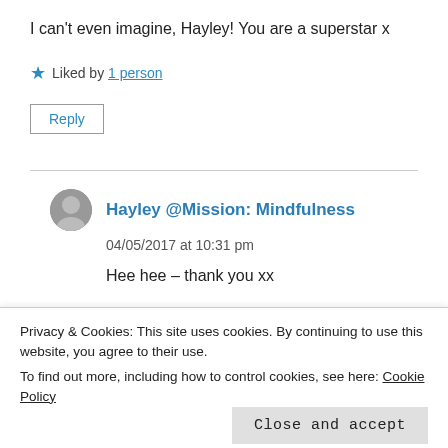I can't even imagine, Hayley! You are a superstar x
★ Liked by 1 person
Reply
Hayley @Mission: Mindfulness
04/05/2017 at 10:31 pm
Hee hee – thank you xx
Privacy & Cookies: This site uses cookies. By continuing to use this website, you agree to their use.
To find out more, including how to control cookies, see here: Cookie Policy
Close and accept